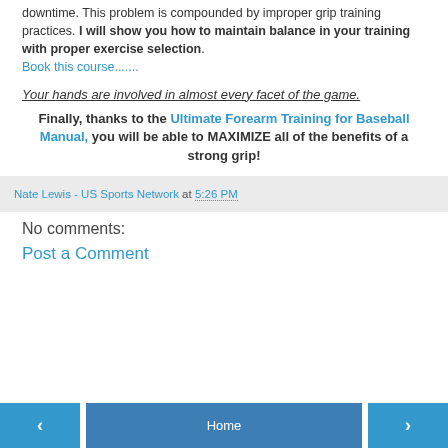downtime. This problem is compounded by improper grip training practices. I will show you how to maintain balance in your training with proper exercise selection. Book this course.......
Your hands are involved in almost every facet of the game.
Finally, thanks to the Ultimate Forearm Training for Baseball Manual, you will be able to MAXIMIZE all of the benefits of a strong grip!
Nate Lewis - US Sports Network at 5:26 PM
No comments:
Post a Comment
< Home >